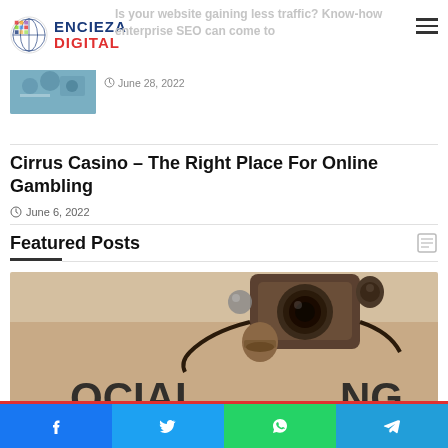Encieza Digital
Is your website gaining less traffic? Know-how enterprise SEO can come to the rescue
June 28, 2022
Cirrus Casino – The Right Place For Online Gambling
June 6, 2022
Featured Posts
[Figure (photo): Vintage camera and text reading SOCIAL MARKETING on paper background]
4 weeks ago